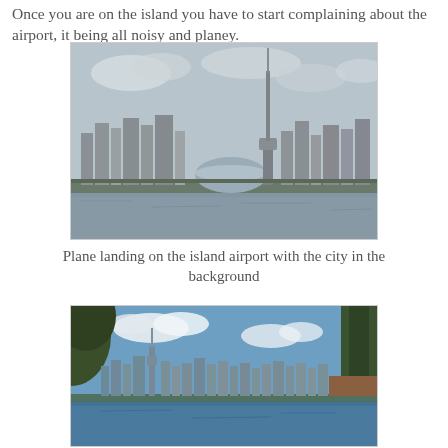Once you are on the island you have to start complaining about the airport, it being all noisy and planey.
[Figure (photo): Toronto city skyline with CN Tower viewed from the water, overcast sky, plane landing at island airport.]
Plane landing on the island airport with the city in the background
[Figure (photo): Toronto skyline viewed from Toronto Island with trees framing the shot, blue sky with clouds, water in foreground.]